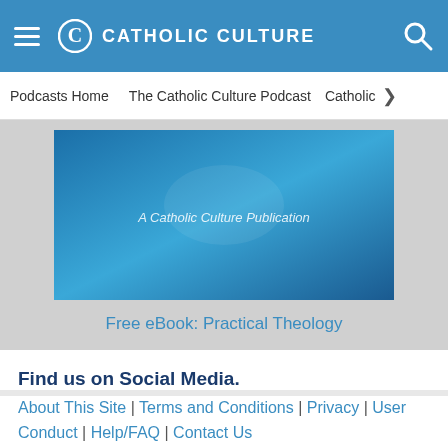CATHOLIC CULTURE
Podcasts Home | The Catholic Culture Podcast | Catholic
[Figure (screenshot): Blue gradient banner image with text 'A Catholic Culture Publication']
Free eBook: Practical Theology
Find us on Social Media.
About This Site | Terms and Conditions | Privacy | User Conduct | Help/FAQ | Contact Us
Copyright © 2022 Trinity Communications. All rights reserved.